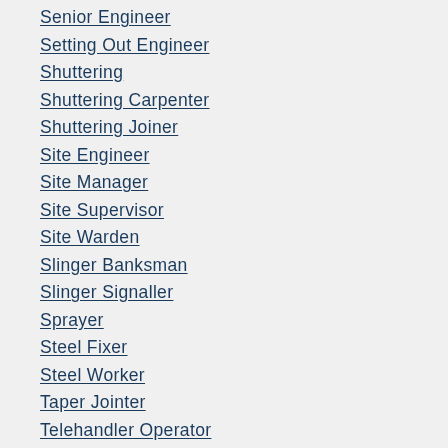Senior Engineer
Setting Out Engineer
Shuttering
Shuttering Carpenter
Shuttering Joiner
Site Engineer
Site Manager
Site Supervisor
Site Warden
Slinger Banksman
Slinger Signaller
Sprayer
Steel Fixer
Steel Worker
Taper Jointer
Telehandler Operator